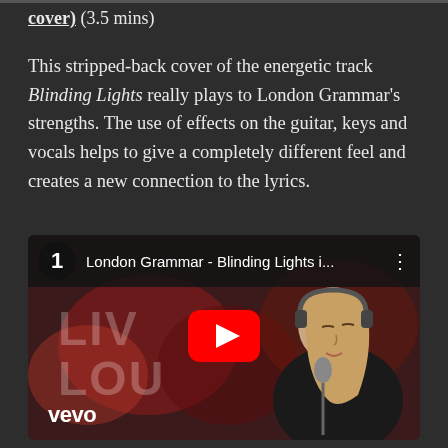cover) (3.5 mins)
This stripped-back cover of the energetic track Blinding Lights really plays to London Grammar's strengths. The use of effects on the guitar, keys and vocals helps to give a completely different feel and creates a new connection to the lyrics.
[Figure (screenshot): YouTube video thumbnail showing London Grammar - Blinding Lights i... with a number 1 circle badge, vevo logo, and a play button overlay. A blonde female vocalist singing into a microphone with headphones on, in front of a blurred red Live Lounge background.]